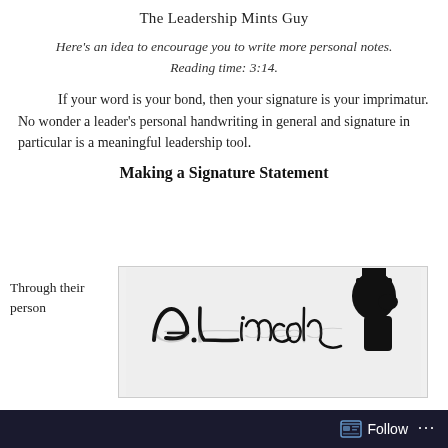The Leadership Mints Guy
Here's an idea to encourage you to write more personal notes. Reading time: 3:14.
If your word is your bond, then your signature is your imprimatur. No wonder a leader's personal handwriting in general and signature in particular is a meaningful leadership tool.
Making a Signature Statement
[Figure (illustration): A. Lincoln cursive signature with reflection, alongside a silhouette profile of Abraham Lincoln]
Through their personal handwriting, leaders more directly dip into the ink well
Follow ...